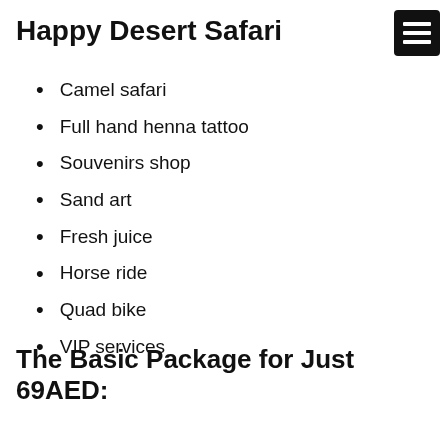Happy Desert Safari
[Figure (other): Hamburger menu icon — black square with three white horizontal lines]
Camel safari
Full hand henna tattoo
Souvenirs shop
Sand art
Fresh juice
Horse ride
Quad bike
VIP services
The Basic Package for Just 69AED: